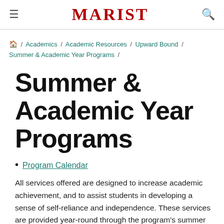MARIST
🏠 / Academics / Academic Resources / Upward Bound / Summer & Academic Year Programs /
Summer & Academic Year Programs
Program Calendar
All services offered are designed to increase academic achievement, and to assist students in developing a sense of self-reliance and independence. These services are provided year-round through the program's summer and academic